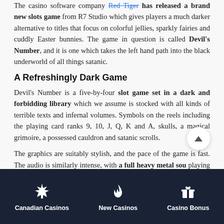The casino software company Red Tiger has released a brand new slots game from R7 Studio which gives players a much darker alternative to titles that focus on colorful jellies, sparkly fairies and cuddly Easter bunnies. The game in question is called Devil's Number, and it is one which takes the left hand path into the black underworld of all things satanic.
A Refreshingly Dark Game
Devil's Number is a five-by-four slot game set in a dark and forbidding library which we assume is stocked with all kinds of terrible texts and infernal volumes. Symbols on the reels including the playing card ranks 9, 10, J, Q, K and A, skulls, a magical grimoire, a possessed cauldron and satanic scrolls.
The graphics are suitably stylish, and the pace of the game is fast. The audio is similarly intense, with a full heavy metal sou playing throughout and screeching riffs of death piercing th gh the stench of sulphur whenever you manage to make a winning
Canadian Casinos | New Casinos | Casino Bonus